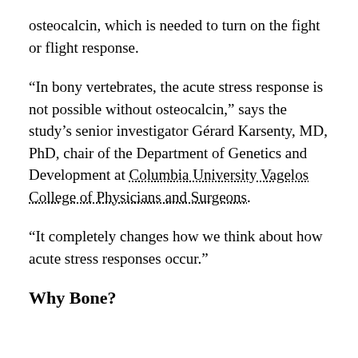osteocalcin, which is needed to turn on the fight or flight response.
“In bony vertebrates, the acute stress response is not possible without osteocalcin,” says the study’s senior investigator Gérard Karsenty, MD, PhD, chair of the Department of Genetics and Development at Columbia University Vagelos College of Physicians and Surgeons.
“It completely changes how we think about how acute stress responses occur.”
Why Bone?